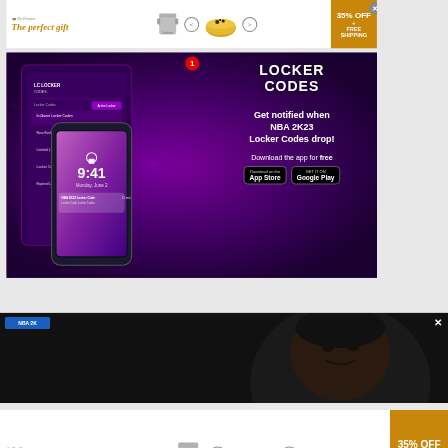[Figure (infographic): Advertisement banner: 'The perfect gift' with The Dreamer logo, pot and bowl images with navigation arrows, 35% OFF + FREE SHIPPING offer in gold/orange box]
[Figure (infographic): Locker Codes app advertisement on dark purple background. Shows app screenshots on phones. Text: 'LOCKER CODES - Get notified when NBA 2K23 Locker Codes drop! Download the app for free' with App Store and Google Play buttons]
[Figure (photo): Dark photo of a person's face (close-up) with blue TV graphic element in upper left. Close X button visible.]
[Figure (infographic): Advertisement banner (bottom): 'The perfect gift' with The Dreamer logo, pot/bowl images, navigation arrows, 35% OFF + FREE SHIPPING. Small X close button bottom left.]